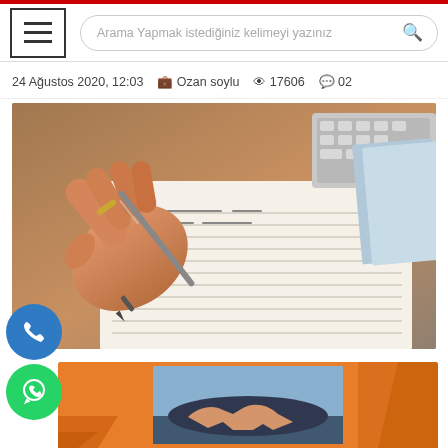Arama Yapmak istediğiniz kelimeyi yazınız
24 Ağustos 2020, 12:03  Ozan soylu  17606  02
[Figure (photo): Close-up of a hand holding a pen and signing/writing on a document with text lines, with a laptop keyboard visible in the background]
[Figure (photo): Orange banner background with a handshake photo in the center, showing two people shaking hands near a car]